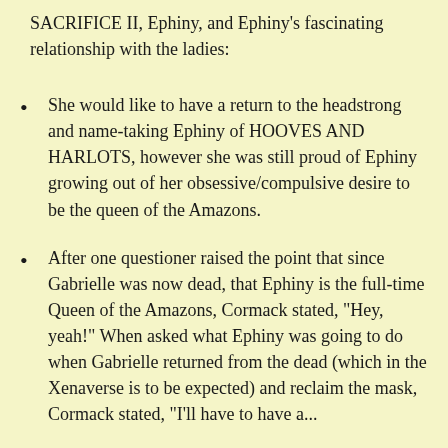SACRIFICE II, Ephiny, and Ephiny's fascinating relationship with the ladies:
She would like to have a return to the headstrong and name-taking Ephiny of HOOVES AND HARLOTS, however she was still proud of Ephiny growing out of her obsessive/compulsive desire to be the queen of the Amazons.
After one questioner raised the point that since Gabrielle was now dead, that Ephiny is the full-time Queen of the Amazons, Cormack stated, "Hey, yeah!" When asked what Ephiny was going to do when Gabrielle returned from the dead (which in the Xenaverse is to be expected) and reclaim the mask, Cormack stated, "I'll have to have a..."